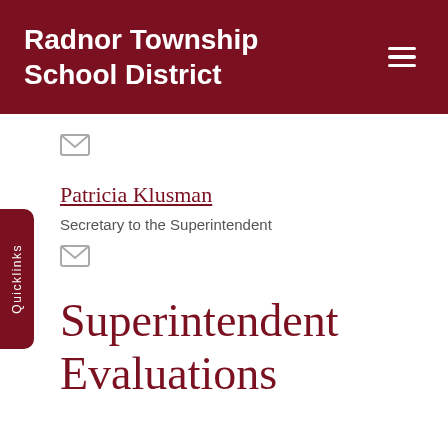Radnor Township School District
[Figure (illustration): Envelope/mail icon (gray)]
Patricia Klusman
Secretary to the Superintendent
[Figure (illustration): Envelope/mail icon (gray)]
Superintendent Evaluations